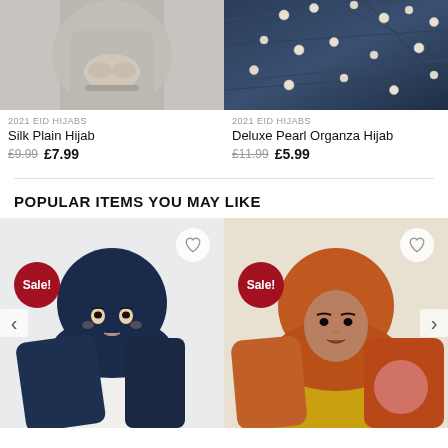[Figure (photo): Photo of a woman in a grey hijab/top, holding something, upper body visible]
2021 EID HIJABS
Silk Plain Hijab
£9.99  £7.99
[Figure (photo): Close-up photo of a dark blue organza fabric with pearl embellishments]
2021 EID HIJABS
Deluxe Pearl Organza Hijab
£11.99  £5.99
POPULAR ITEMS YOU MAY LIKE
[Figure (photo): Woman wearing a navy blue hijab against a light background, with a Sale! badge and heart icon]
[Figure (photo): Woman wearing an orange/rust hijab and yellow top, with a Sale! badge, heart icon, and pink circle overlay]